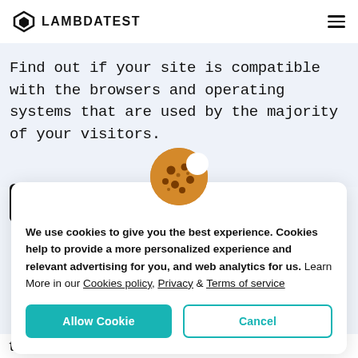LAMBDATEST
Find out if your site is compatible with the browsers and operating systems that are used by the majority of your visitors.
[Figure (screenshot): Dark button with text 'Start testing for' partially obscured by cookie modal and cookie emoji icon]
[Figure (illustration): Cookie emoji icon (brown cookie with chocolate chips) appearing above the cookie consent modal]
We use cookies to give you the best experience. Cookies help to provide a more personalized experience and relevant advertising for you, and web analytics for us. Learn More in our Cookies policy, Privacy & Terms of service
Allow Cookie
Cancel
the overall marketshare of both Internet Explorer